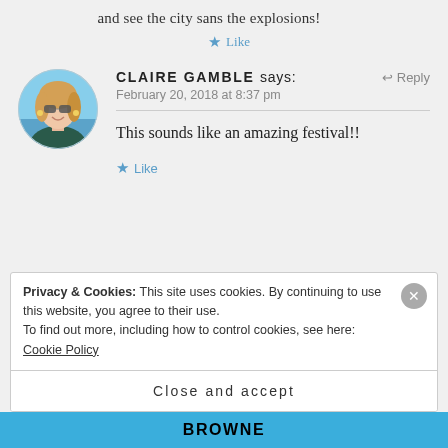and see the city sans the explosions!
★ Like
CLAIRE GAMBLE says:
February 20, 2018 at 8:37 pm
This sounds like an amazing festival!!
★ Like
Privacy & Cookies: This site uses cookies. By continuing to use this website, you agree to their use.
To find out more, including how to control cookies, see here: Cookie Policy
Close and accept